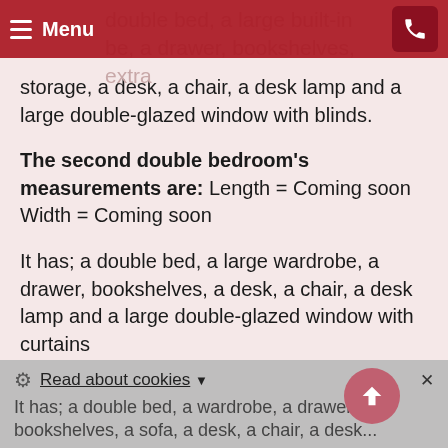Menu
storage, a desk, a chair, a desk lamp and a large double-glazed window with blinds.
The second double bedroom's measurements are: Length = Coming soon Width = Coming soon
It has; a double bed, a large wardrobe, a drawer, bookshelves, a desk, a chair, a desk lamp and a large double-glazed window with curtains
The large double bedroom's measurements are: Length = Coming soon Width = Coming soon
soon
It has; a double bed, a wardrobe, a drawer, bookshelves, a sofa, a desk, a chair, a desk...